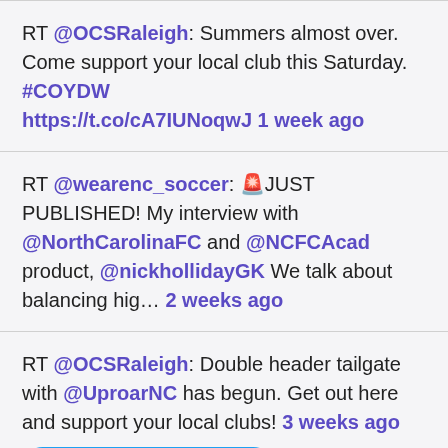RT @OCSRaleigh: Summers almost over. Come support your local club this Saturday. #COYDW https://t.co/cA7IUNoqwJ 1 week ago
RT @wearenc_soccer: 🚨JUST PUBLISHED! My interview with @NorthCarolinaFC and @NCFCAcad product, @nickhollidayGK We talk about balancing hig… 2 weeks ago
RT @OCSRaleigh: Double header tailgate with @UproarNC has begun. Get out here and support your local clubs! 3 weeks ago